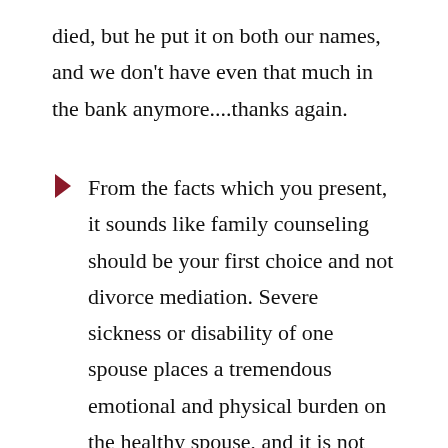died, but he put it on both our names, and we don't have even that much in the bank anymore....thanks again.
From the facts which you present, it sounds like family counseling should be your first choice and not divorce mediation. Severe sickness or disability of one spouse places a tremendous emotional and physical burden on the healthy spouse, and it is not unusual for you to react in the way you are. I strongly suggest you seek out an experienced family counselor to help both of you. Get home care assistance to take part of the burden off of you and to provide you with some free time to go out and to enjoy yourself